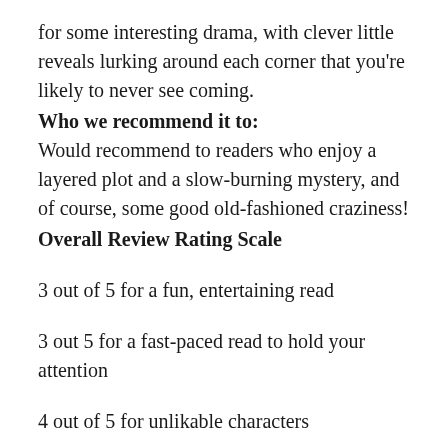for some interesting drama, with clever little reveals lurking around each corner that you're likely to never see coming.
Who we recommend it to:
Would recommend to readers who enjoy a layered plot and a slow-burning mystery, and of course, some good old-fashioned craziness!
Overall Review Rating Scale
3 out of 5 for a fun, entertaining read
3 out 5 for a fast-paced read to hold your attention
4 out of 5 for unlikable characters